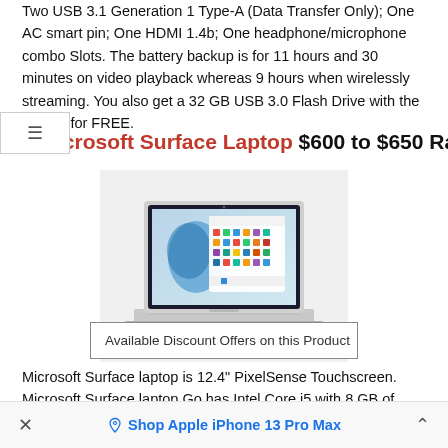Two USB 3.1 Generation 1 Type-A (Data Transfer Only); One AC smart pin; One HDMI 1.4b; One headphone/microphone combo Slots. The battery backup is for 11 hours and 30 minutes on video playback whereas 9 hours when wirelessly streaming. You also get a 32 GB USB 3.0 Flash Drive with the Laptop for FREE.
3.Microsoft Surface Laptop $600 to $650 Range
[Figure (photo): Microsoft Surface Laptop with Windows 11 start menu displayed on screen]
Available Discount Offers on this Product
Microsoft Surface laptop is 12.4" PixelSense Touchscreen. Microsoft Surface laptop Go has Intel Core i5 with 8 GB of RAM, and 128 GB
× Shop Apple iPhone 13 Pro Max ^